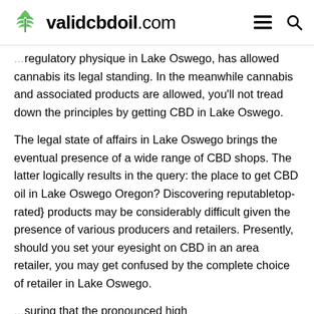validcbdoil.com
regulatory physique in Lake Oswego, has allowed cannabis its legal standing. In the meanwhile cannabis and associated products are allowed, you'll not tread down the principles by getting CBD in Lake Oswego.
The legal state of affairs in Lake Oswego brings the eventual presence of a wide range of CBD shops. The latter logically results in the query: the place to get CBD oil in Lake Oswego Oregon? Discovering reputabletop-rated} products may be considerably difficult given the presence of various producers and retailers. Presently, should you set your eyesight on CBD in an area retailer, you may get confused by the complete choice of retailer in Lake Oswego.
…suring that the pronounced high …the digital one. Often, the most
Table of Contents